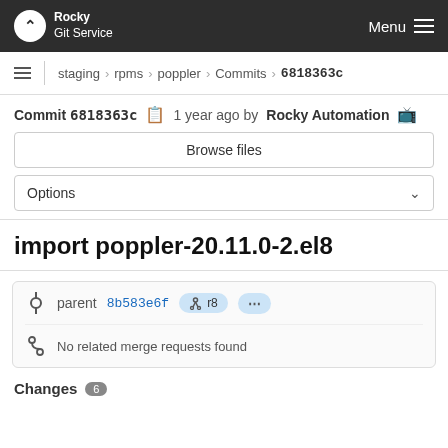Rocky Git Service   Menu
staging > rpms > poppler > Commits > 6818363c
Commit 6818363c  1 year ago by Rocky Automation
Browse files
Options
import poppler-20.11.0-2.el8
parent 8b583e6f  r8  ...
No related merge requests found
Changes 6